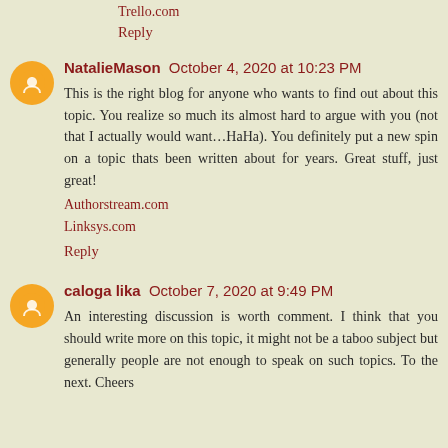Trello.com
Reply
NatalieMason October 4, 2020 at 10:23 PM
This is the right blog for anyone who wants to find out about this topic. You realize so much its almost hard to argue with you (not that I actually would want…HaHa). You definitely put a new spin on a topic thats been written about for years. Great stuff, just great!
Authorstream.com
Linksys.com
Reply
caloga lika October 7, 2020 at 9:49 PM
An interesting discussion is worth comment. I think that you should write more on this topic, it might not be a taboo subject but generally people are not enough to speak on such topics. To the next. Cheers